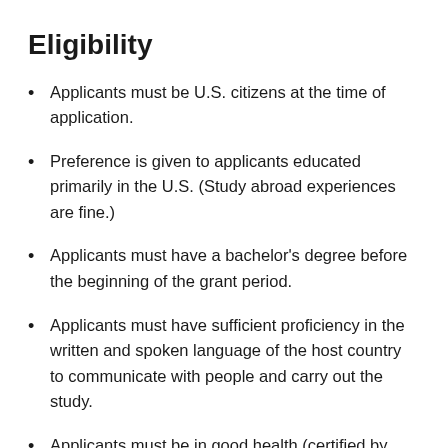Eligibility
Applicants must be U.S. citizens at the time of application.
Preference is given to applicants educated primarily in the U.S. (Study abroad experiences are fine.)
Applicants must have a bachelor's degree before the beginning of the grant period.
Applicants must have sufficient proficiency in the written and spoken language of the host country to communicate with people and carry out the study.
Applicants must be in good health (certified by